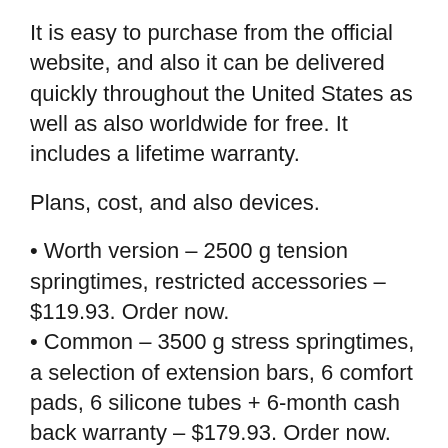It is easy to purchase from the official website, and also it can be delivered quickly throughout the United States as well as also worldwide for free. It includes a lifetime warranty.
Plans, cost, and also devices.
Worth version – 2500 g tension springtimes, restricted accessories – $119.93. Order now.
Common – 3500 g stress springtimes, a selection of extension bars, 6 comfort pads, 6 silicone tubes + 6-month cash back warranty – $179.93. Order now.
Deluxe – 4000 g pressure springs, wooden situation, 12 silicone tubes, 12 convenience pads, added accessories, lifetime warranty.